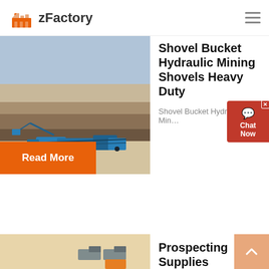zFactory
[Figure (photo): Aerial photo of an open-pit mine with blue crushing/screening machinery and excavators on rocky terrain]
Shovel Bucket Hydraulic Mining Shovels Heavy Duty
Shovel Bucket Hydraulic Min…
Read More
[Figure (illustration): 3D isometric illustration of an open-pit quarry/mining site with yellow and green machinery, trucks, crusher equipment, and conveyor systems]
Prospecting Supplies
Prospecting Supplies Australia i…
Read More